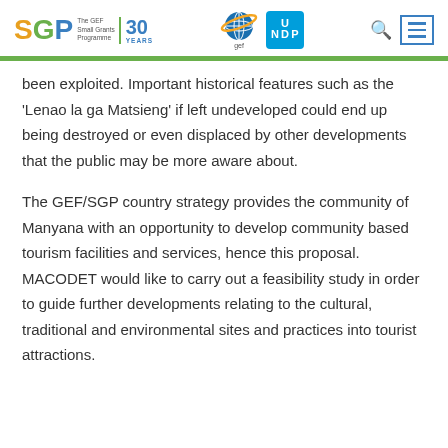SGP The GEF Small Grants Programme | 30 YEARS | GEF | UNDP
been exploited. Important historical features such as the 'Lenao la ga Matsieng' if left undeveloped could end up being destroyed or even displaced by other developments that the public may be more aware about.
The GEF/SGP country strategy provides the community of Manyana with an opportunity to develop community based tourism facilities and services, hence this proposal. MACODET would like to carry out a feasibility study in order to guide further developments relating to the cultural, traditional and environmental sites and practices into tourist attractions.